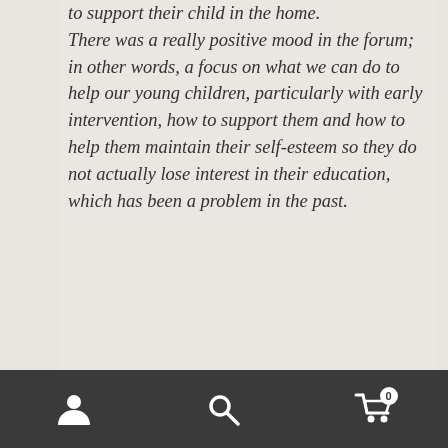to support their child in the home. There was a really positive mood in the forum; in other words, a focus on what we can do to help our young children, particularly with early intervention, how to support them and how to help them maintain their self-esteem so they do not actually lose interest in their education, which has been a problem in the past.